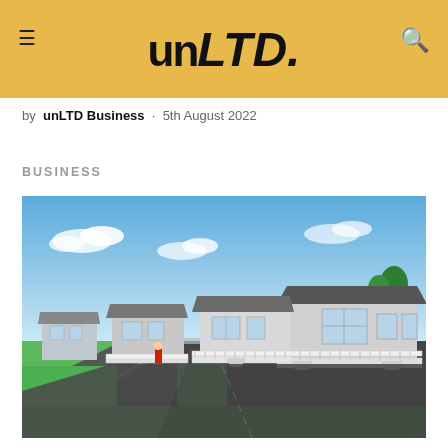unLTD.
by unLTD Business · 5th August 2022
BUSINESS
[Figure (photo): Row of static holiday homes/caravans on a holiday park with white decking, green lawns, a road in the foreground, and a blue sky with light clouds in the background.]